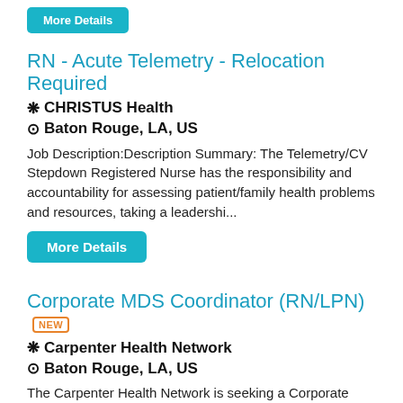More Details (button at top)
RN - Acute Telemetry - Relocation Required
❋ CHRISTUS Health
⊙ Baton Rouge, LA, US
Job Description:Description Summary: The Telemetry/CV Stepdown Registered Nurse has the responsibility and accountability for assessing patient/family health problems and resources, taking a leadershi...
More Details (button)
Corporate MDS Coordinator (RN/LPN) NEW
❋ Carpenter Health Network
⊙ Baton Rouge, LA, US
The Carpenter Health Network is seeking a Corporate MDS Coordinator (RN/LPN) – Compliance, Trainer, Educator to join our exceptional post-acute care